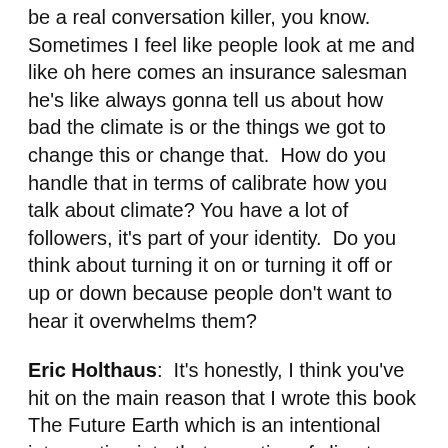be a real conversation killer, you know.  Sometimes I feel like people look at me and like oh here comes an insurance salesman he's like always gonna tell us about how bad the climate is or the things we got to change this or change that.  How do you handle that in terms of calibrate how you talk about climate? You have a lot of followers, it's part of your identity.  Do you think about turning it on or turning it off or up or down because people don't want to hear it overwhelms them?
Eric Holthaus:  It's honestly, I think you've hit on the main reason that I wrote this book The Future Earth which is an intentional intervention into that narrative of climate change is a depressing thing to talk about.  I just sort of flip that on its head and say that's just sort of like you know, honestly like being completely blunt about it that's propaganda from the fossil fuel industry to try to convince you not to do anything that's too overwhelming.  That this is just the way it's always gonna be, you know, you might as well accept it.  What do yourself...